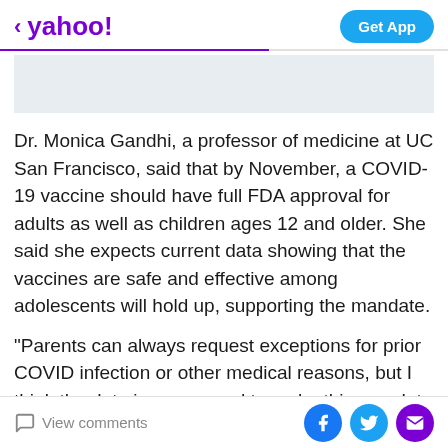< yahoo!  Get App
[Figure (other): Light blue-grey advertisement banner placeholder]
Dr. Monica Gandhi, a professor of medicine at UC San Francisco, said that by November, a COVID-19 vaccine should have full FDA approval for adults as well as children ages 12 and older. She said she expects current data showing that the vaccines are safe and effective among adolescents will hold up, supporting the mandate.
"Parents can always request exceptions for prior COVID infection or other medical reasons, but I think the data is very sound to make this mandate at this time," Gandhi said.
View comments | Facebook | Twitter | Email